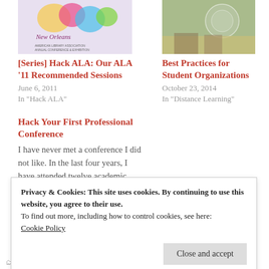[Figure (photo): New Orleans ALA conference logo/banner with colorful decorative elements]
[Series] Hack ALA: Our ALA '11 Recommended Sessions
June 6, 2011
In "Hack ALA"
[Figure (photo): Outdoor photo with blurred background, student organizations related image]
Best Practices for Student Organizations
October 23, 2014
In "Distance Learning"
Hack Your First Professional Conference
I have never met a conference I did not like. In the last four years, I have attended twelve academic conferences…
Privacy & Cookies: This site uses cookies. By continuing to use this website, you agree to their use.
To find out more, including how to control cookies, see here:
Cookie Policy
Close and accept
CATEGORIES: HACK ALA